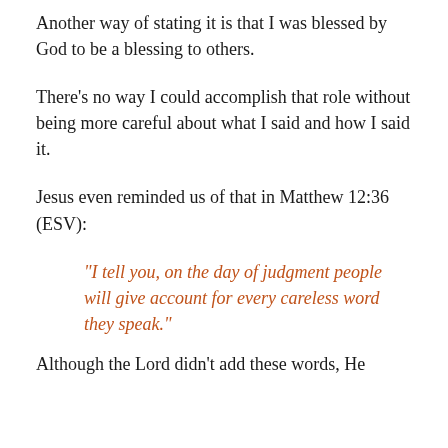Another way of stating it is that I was blessed by God to be a blessing to others.
There’s no way I could accomplish that role without being more careful about what I said and how I said it.
Jesus even reminded us of that in Matthew 12:36 (ESV):
“I tell you, on the day of judgment people will give account for every careless word they speak.”
Although the Lord didn’t add these words, He